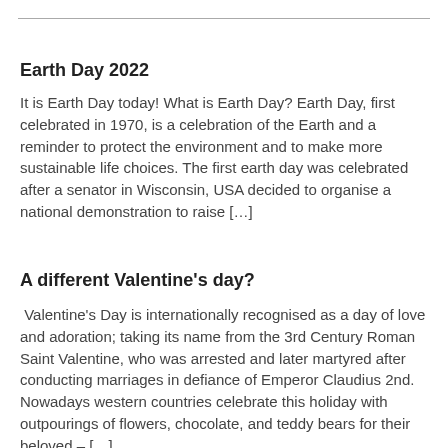Earth Day 2022
It is Earth Day today! What is Earth Day? Earth Day, first celebrated in 1970, is a celebration of the Earth and a reminder to protect the environment and to make more sustainable life choices. The first earth day was celebrated after a senator in Wisconsin, USA decided to organise a national demonstration to raise […]
A different Valentine's day?
Valentine's Day is internationally recognised as a day of love and adoration; taking its name from the 3rd Century Roman Saint Valentine, who was arrested and later martyred after conducting marriages in defiance of Emperor Claudius 2nd. Nowadays western countries celebrate this holiday with outpourings of flowers, chocolate, and teddy bears for their beloved – […]